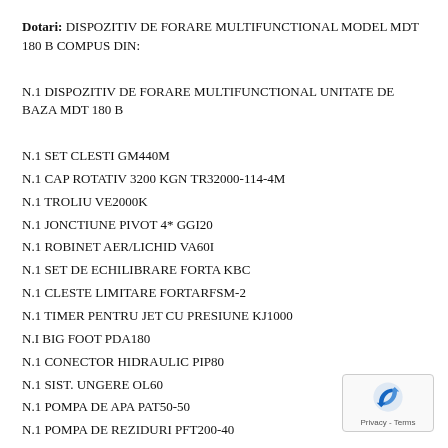Dotari: DISPOZITIV DE FORARE MULTIFUNCTIONAL MODEL MDT 180 B COMPUS DIN:

N.1 DISPOZITIV DE FORARE MULTIFUNCTIONAL UNITATE DE BAZA MDT 180 B

N.1 SET CLESTI GM440M
N.1 CAP ROTATIV 3200 KGN TR32000-114-4M
N.1 TROLIU VE2000K
N.1 JONCTIUNE PIVOT 4* GGI20
N.1 ROBINET AER/LICHID VA60I
N.1 SET DE ECHILIBRARE FORTA KBC
N.1 CLESTE LIMITARE FORTARFSM-2
N.1 TIMER PENTRU JET CU PRESIUNE KJ1000
N.I BIG FOOT PDA180
N.1 CONECTOR HIDRAULIC PIP80
N.1 SIST. UNGERE OL60
N.1 POMPA DE APA PAT50-50
N.1 POMPA DE REZIDURI PFT200-40

GREUTATE TOTALA: KG.18.000.00
ADANCIME DE FORARE 33,5 M
DIAMETRU DE FORARE : Carota 44cm si melc 34 cm
[Figure (other): reCAPTCHA badge with blue logo icon and Privacy - Terms text]